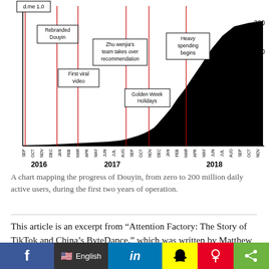[Figure (area-chart): Area chart showing Douyin DAU growth from 0 to 200 million from Sep 2016 to Nov 2018. Annotations mark: d.me 1.0, Rebranded Douyin, First viral video, Zhu wenjia's team takes over recommendation, Golden Week Holidays, Heavy spending begins. Key milestones at 7, 14, 30, 70, 150, 200 million users.]
A chart mapping the progress of Douyin, from zero to 200 million daily active users, during the first two years of operation.
This article is an excerpt from “Attention Factory: The Story of TikTok and China’s ByteDance,” which was written by Matthew Brennan and edited by TechCrunch reporter Rita Liao, who wrote the introduction to this post.